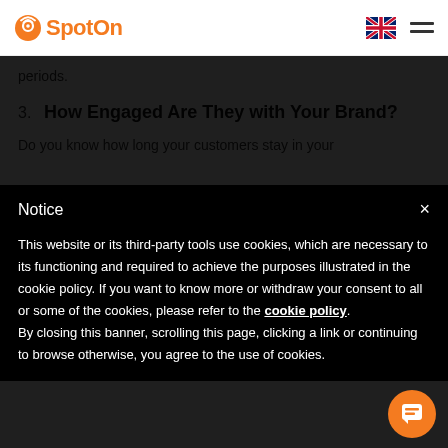SpotOn
periods.
3. How Engaged Are They with Your Brand?
Do you know how long your customers stay in your
Notice
This website or its third-party tools use cookies, which are necessary to its functioning and required to achieve the purposes illustrated in the cookie policy. If you want to know more or withdraw your consent to all or some of the cookies, please refer to the cookie policy.
By closing this banner, scrolling this page, clicking a link or continuing to browse otherwise, you agree to the use of cookies.